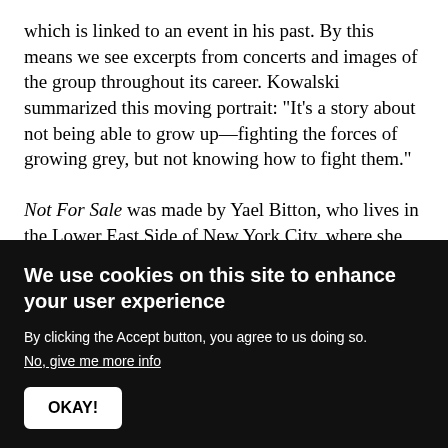which is linked to an event in his past. By this means we see excerpts from concerts and images of the group throughout its career. Kowalski summarized this moving portrait: "It's a story about not being able to grow up—fighting the forces of growing grey, but not knowing how to fight them."

Not For Sale was made by Yael Bitton, who lives in the Lower East Side of New York City, where she shot the film. Her neighborhood, once a stronghold of the Puerto Rican community, is being gradually taken over by real estate speculators. We see a boarded-up garden square that was created by local people, and a once friendly cycle...
We use cookies on this site to enhance your user experience
By clicking the Accept button, you agree to us doing so.
No, give me more info
OKAY!